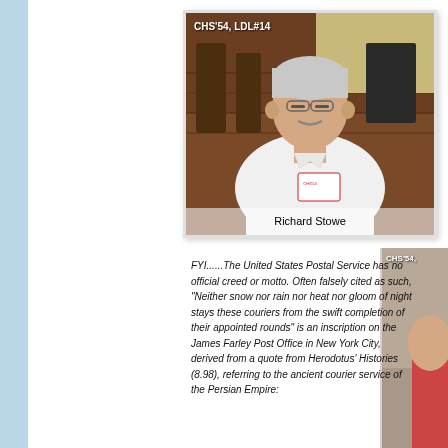[Figure (photo): Photo of Richard Stowe, an elderly man with white hair and mustache wearing a white t-shirt with a name tag, standing in front of wood-paneled wall. Label reads 'CHS'54, LDL#14' in top left corner.]
Richard Stowe
[Figure (photo): Partial photo visible on right edge, showing a person, with label 'CHS'54,' visible in top left.]
FYI......The United States Postal Service has no official creed or motto. Often falsely cited as such, "Neither snow nor rain nor heat nor gloom of night stays these couriers from the swift completion of their appointed rounds" is an inscription on the James Farley Post Office in New York City, derived from a quote from Herodotus' Histories (8.98), referring to the ancient courier service of the Persian Empire: